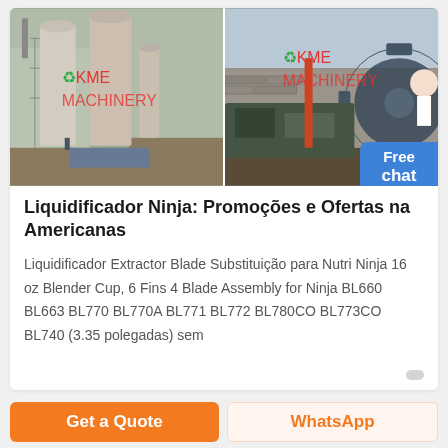[Figure (photo): Two industrial plant photos side by side, both showing KME branded machinery/equipment. Left photo shows large silos and industrial plant structure. Right photo shows heavy industrial machinery with large gears/wheels. Both photos have KME logos overlaid.]
Liquidificador Ninja: Promoções e Ofertas na Americanas
Liquidificador Extractor Blade Substituição para Nutri Ninja 16 oz Blender Cup, 6 Fins 4 Blade Assembly for Ninja BL660 BL663 BL770 BL770A BL771 BL772 BL780CO BL773CO BL740 (3.35 polegadas) sem
Get a Quote
WhatsApp